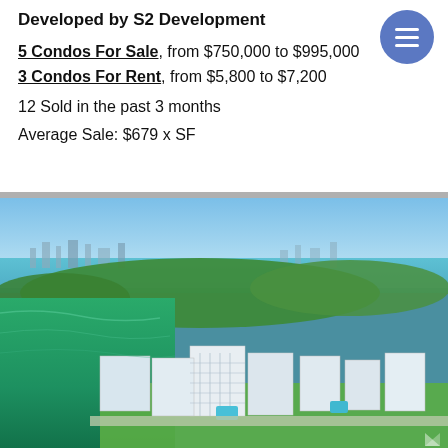Developed by S2 Development
5 Condos For Sale, from $750,000 to $995,000
3 Condos For Rent, from $5,800 to $7,200
12 Sold in the past 3 months
Average Sale: $679 x SF
[Figure (photo): Aerial photograph of a waterfront residential area with luxury condominiums along a green-water bay, city skyline visible in the background under blue skies.]